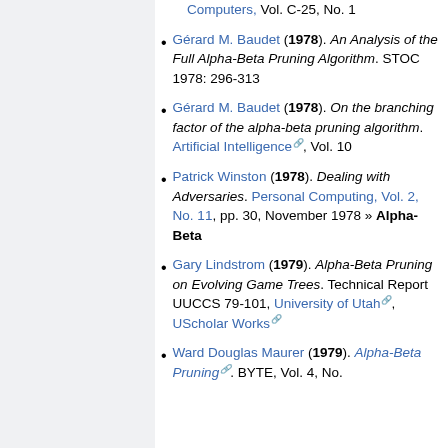Computers, Vol. C-25, No. 1
Gérard M. Baudet (1978). An Analysis of the Full Alpha-Beta Pruning Algorithm. STOC 1978: 296-313
Gérard M. Baudet (1978). On the branching factor of the alpha-beta pruning algorithm. Artificial Intelligence, Vol. 10
Patrick Winston (1978). Dealing with Adversaries. Personal Computing, Vol. 2, No. 11, pp. 30, November 1978 » Alpha-Beta
Gary Lindstrom (1979). Alpha-Beta Pruning on Evolving Game Trees. Technical Report UUCCS 79-101, University of Utah, UScholar Works
Ward Douglas Maurer (1979). Alpha-Beta Pruning. BYTE, Vol. 4, No.